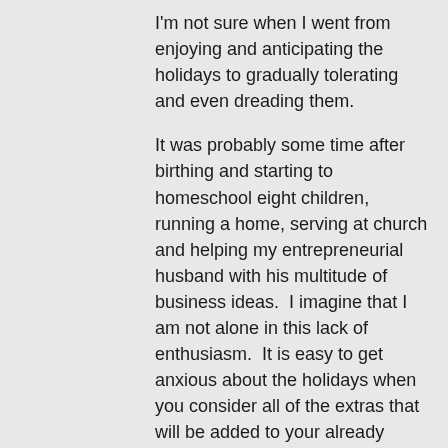I'm not sure when I went from enjoying and anticipating the holidays to gradually tolerating and even dreading them.
It was probably some time after birthing and starting to homeschool eight children, running a home, serving at church and helping my entrepreneurial husband with his multitude of business ideas.  I imagine that I am not alone in this lack of enthusiasm.  It is easy to get anxious about the holidays when you consider all of the extras that will be added to your already overflowing plate with shopping, cooking, wrapping, and social commitments.
As a busy mom of many, one verse that I memorized, internalized and clung to from the early days is where Jesus said in Matthew 11:30,
“For my yoke is easy